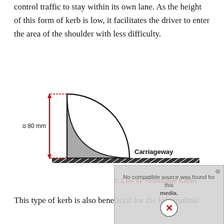control traffic to stay within its own lane. As the height of this form of kerb is low, it facilitates the driver to enter the area of the shoulder with less difficulty.
[Figure (engineering-diagram): Cross-section diagram of a low/mountable kerb. A quarter-circle shaped grey kerb profile is shown with a vertical red double-headed arrow indicating height of 70 to 80 mm. The base shows a hatched ground line. Label 'Carriageway' points to the right side of the base.]
1. Low or Mountable Kerbs
This type of kerb is also beneficial for the longitudinal